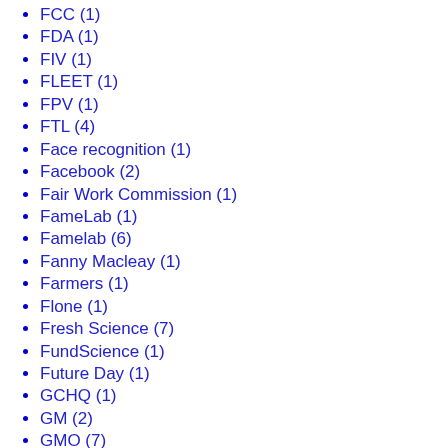FCC (1)
FDA (1)
FIV (1)
FLEET (1)
FPV (1)
FTL (4)
Face recognition (1)
Facebook (2)
Fair Work Commission (1)
FameLab (1)
Famelab (6)
Fanny Macleay (1)
Farmers (1)
Flone (1)
Fresh Science (7)
FundScience (1)
Future Day (1)
GCHQ (1)
GM (2)
GMO (7)
GPS (1)
Gartner (1)
GenSpace (1)
Gene (1)
Genescient (1)